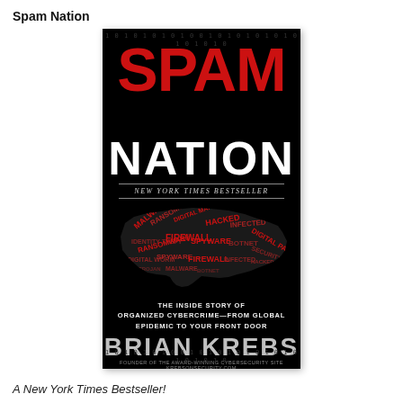Spam Nation
[Figure (illustration): Book cover of 'Spam Nation' by Brian Krebs. Black background with binary numbers at top and bottom edges. Large bold red text reading 'SPAM' at top, white bold text 'NATION' below it, then 'NEW YORK TIMES BESTSELLER' in small italic text. A word cloud shaped like the United States in the center filled with cybersecurity terms (MALWARE, RANSOMWARE, DIGITAL MAFIA, HACKED, INFECTED, BOTNET, DIGITAL PARASITE, SECURITY BREACH, SPYWARE, FIREWALL, etc.) in red and dark red text. Below the map: 'THE INSIDE STORY OF ORGANIZED CYBERCRIME—FROM GLOBAL EPIDEMIC TO YOUR FRONT DOOR'. Author name 'BRIAN KREBS' in large silver/gray text. Small text: 'FOUNDER OF THE AWARD-WINNING CYBERSECURITY SITE KREBSONSECURITY.COM']
A New York Times Bestseller!